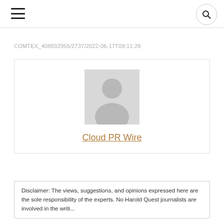≡  🔍
COMTEX_408832955/2737/2022-06-17T09:11:29
[Figure (illustration): Author profile card with a generic grey avatar silhouette image and the name 'Cloud PR Wire' as a link below it]
Cloud PR Wire
Disclaimer: The views, suggestions, and opinions expressed here are the sole responsibility of the experts. No Harold Quest journalists are involved in the writi...